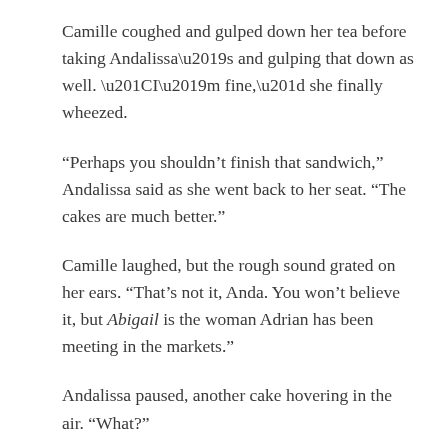Camille coughed and gulped down her tea before taking Andalissa’s and gulping that down as well. “I’m fine,” she finally wheezed.
“Perhaps you shouldn’t finish that sandwich,” Andalissa said as she went back to her seat. “The cakes are much better.”
Camille laughed, but the rough sound grated on her ears. “That’s not it, Anda. You won’t believe it, but Abigail is the woman Adrian has been meeting in the markets.”
Andalissa paused, another cake hovering in the air. “What?”
“A… that Adrian doesn’t meet… in… but that…